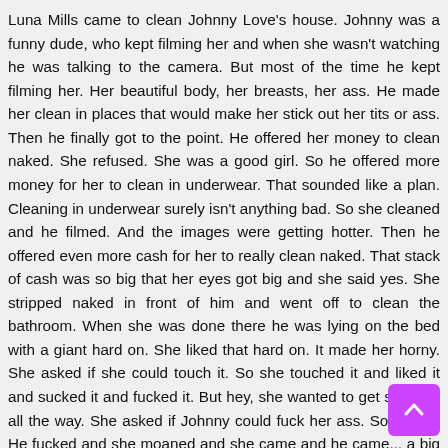Luna Mills came to clean Johnny Love's house. Johnny was a funny dude, who kept filming her and when she wasn't watching he was talking to the camera. But most of the time he kept filming her. Her beautiful body, her breasts, her ass. He made her clean in places that would make her stick out her tits or ass. Then he finally got to the point. He offered her money to clean naked. She refused. She was a good girl. So he offered more money for her to clean in underwear. That sounded like a plan. Cleaning in underwear surely isn't anything bad. So she cleaned and he filmed. And the images were getting hotter. Then he offered even more cash for her to really clean naked. That stack of cash was so big that her eyes got big and she said yes. She stripped naked in front of him and went off to clean the bathroom. When she was done there he was lying on the bed with a giant hard on. She liked that hard on. It made her horny. She asked if she could touch it. So she touched it and liked it and sucked it and fucked it. But hey, she wanted to get satisfied all the way. She asked if Johnny could fuck her ass. So he did. He fucked and she moaned and she came and he came... a big load right in her face.